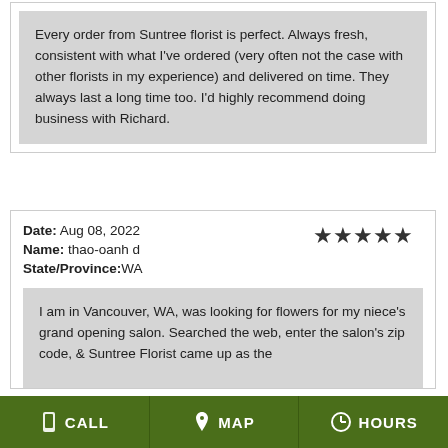Every order from Suntree florist is perfect. Always fresh, consistent with what I've ordered (very often not the case with other florists in my experience) and delivered on time. They always last a long time too. I'd highly recommend doing business with Richard.
Date: Aug 08, 2022
Name: thao-oanh d
State/Province:WA
★★★★★
I am in Vancouver, WA, was looking for flowers for my niece's grand opening salon. Searched the web, enter the salon's zip code, & Suntree Florist came up as the
CALL   MAP   HOURS